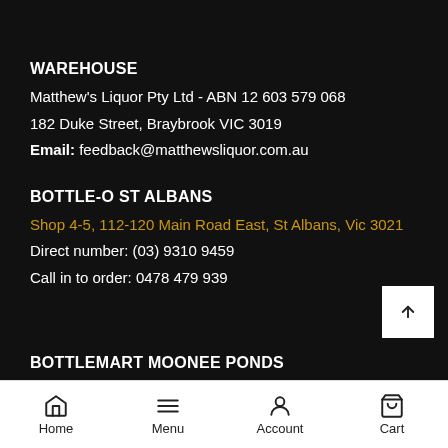WAREHOUSE
Matthew's Liquor Pty Ltd - ABN 12 603 579 068
182 Duke Street, Braybrook VIC 3019
Email: feedback@matthewsliquor.com.au
BOTTLE-O ST ALBANS
Shop 4-5, 112-120 Main Road East, St Albans, Vic 3021
Direct number: (03) 9310 9459
Call in to order: 0478 479 939
BOTTLEMART MOONEE PONDS
Home  Menu  Account  Cart